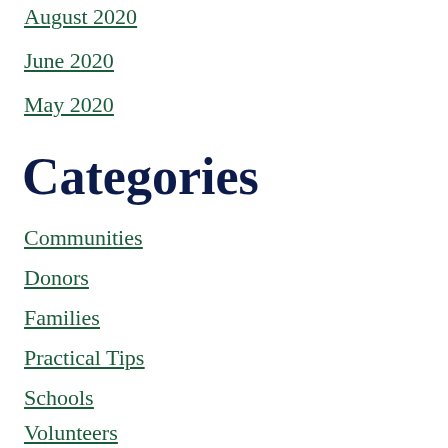August 2020
June 2020
May 2020
Categories
Communities
Donors
Families
Practical Tips
Schools
Volunteers